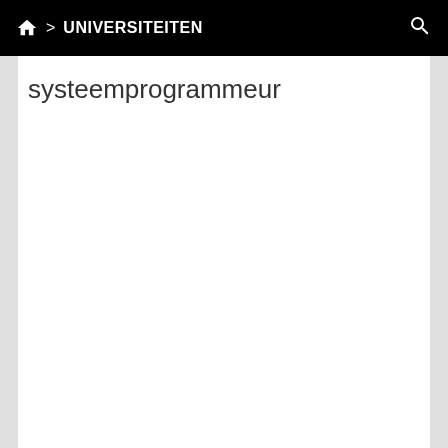🏠 > UNIVERSITEITEN
systeemprogrammeur